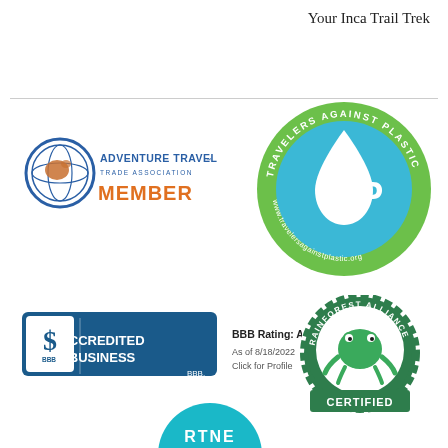Your Inca Trail Trek
[Figure (logo): Adventure Travel Trade Association Member logo with globe icon]
[Figure (logo): Travelers Against Plastic (TAP) circular badge logo in green and blue]
[Figure (logo): BBB Accredited Business logo with BBB Rating A+ as of 8/18/2022, Click for Profile]
[Figure (logo): Rainforest Alliance Certified badge with frog illustration]
[Figure (logo): Partial partner badge visible at bottom]